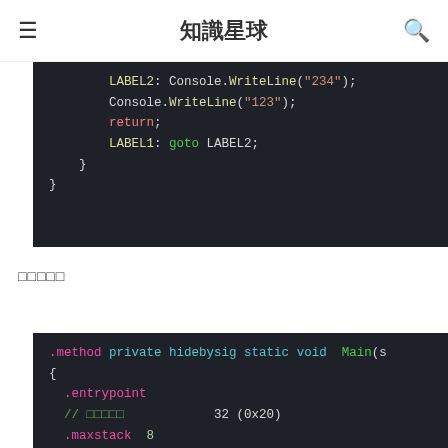知識星球
[Figure (screenshot): Code block showing C# code with labels LABEL2 Console.WriteLine("234"), Console.WriteLine("123"), return, LABEL1: goto LABEL2 and closing braces, dark background syntax highlighted]
□□□□□
[Figure (screenshot): Code block showing IL assembly with .method private hidebysig static void Main(s, {, .entrypoint, // □□□□□ 32 (0x20), .maxstack 8, IL_0000: nop — dark background syntax highlighted]